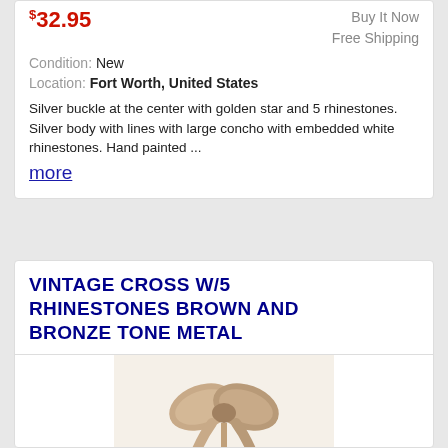$32.95
Buy It Now
Free Shipping
Condition: New
Location: Fort Worth, United States
Silver buckle at the center with golden star and 5 rhinestones. Silver body with lines with large concho with embedded white rhinestones. Hand painted ...
more
VINTAGE CROSS W/5 RHINESTONES BROWN AND BRONZE TONE METAL
[Figure (photo): Product photo of a vintage cross with brown organza ribbon bow, bronze tone metal, hanging on a light background.]